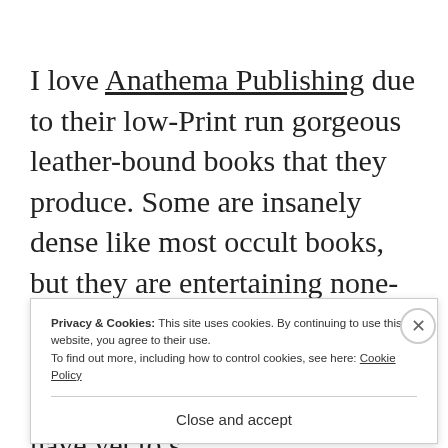I love Anathema Publishing due to their low-Print run gorgeous leather-bound books that they produce. Some are insanely dense like most occult books, but they are entertaining none-the-less. Shani Oates actually recently released a sequel to this book that I do own, but have yet to s
Privacy & Cookies: This site uses cookies. By continuing to use this website, you agree to their use.
To find out more, including how to control cookies, see here: Cookie Policy
Close and accept